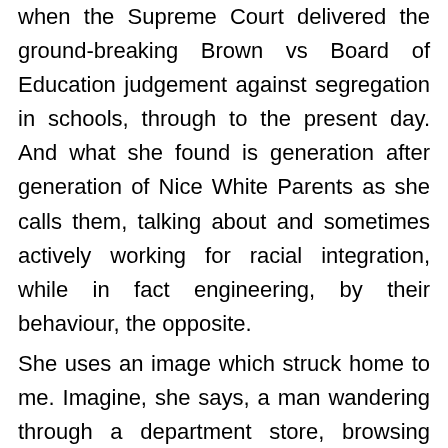when the Supreme Court delivered the ground-breaking Brown vs Board of Education judgement against segregation in schools, through to the present day. And what she found is generation after generation of Nice White Parents as she calls them, talking about and sometimes actively working for racial integration, while in fact engineering, by their behaviour, the opposite. She uses an image which struck home to me. Imagine, she says, a man wandering through a department store, browsing here and there. Except he is not aware that he has a large ruck-sack on his back and as he turns to look at things he leaves behind him a trail of broken merchandise. This, she says, is us – she includes herself as a white parent – we are oblivious to the harm we are doing as we go about our privileged lives, confidently expounding our liberal values. Hearing this I was reminded of the feeling of shame